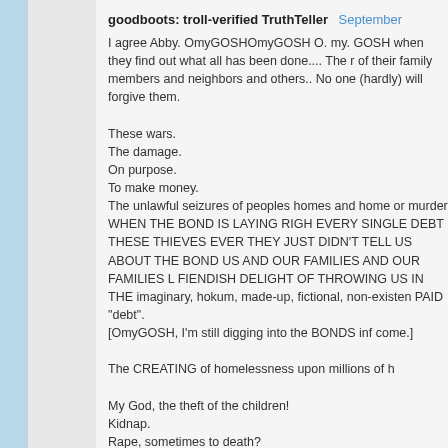goodboots: troll-verified TruthTeller  September
I agree Abby. OmyGOSHOmyGOSH O. my. GOSH when they find out what all has been done.... The r of their family members and neighbors and others.. No one (hardly) will forgive them.

These wars.
The damage.
On purpose.
To make money.
The unlawful seizures of peoples homes and home or murder WHEN THE BOND IS LAYING RIGH EVERY SINGLE DEBT THESE THIEVES EVER THEY JUST DIDN'T TELL US ABOUT THE BOND US AND OUR FAMILIES AND OUR FAMILIES L FIENDISH DELIGHT OF THROWING US IN THE imaginary, hokum, made-up, fictional, non-existen PAID "debt".
[OmyGOSH, I'm still digging into the BONDS inf come.]

The CREATING of homelessness upon millions of h

My God, the theft of the children!
Kidnap.
Rape, sometimes to death?